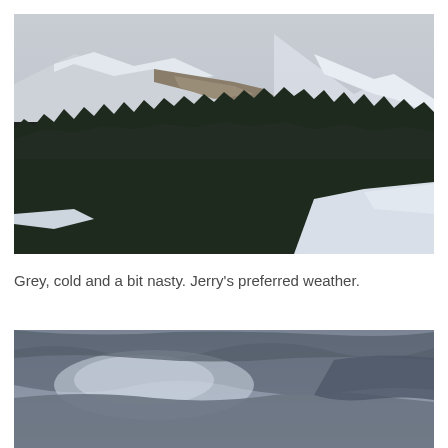[Figure (photo): Snow-covered mountain range with dark conifer forest in the foreground and grey overcast sky. The mountains show patches of snow and bare rock.]
Grey, cold and a bit nasty. Jerry's preferred weather.
[Figure (photo): Grey overcast cloudy sky with diffuse light, partially cropped at bottom of page.]